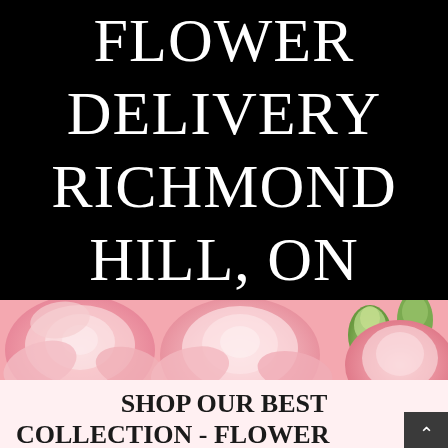FLOWER DELIVERY RICHMOND HILL, ON
[Figure (photo): Close-up photo of pink roses and green flower buds]
SHOP OUR BEST COLLECTION - FLOWER